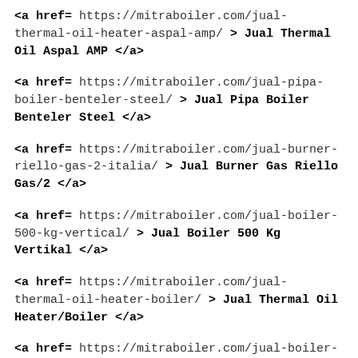<a href= https://mitraboiler.com/jual-thermal-oil-heater-aspal-amp/ > Jual Thermal Oil Aspal AMP </a>
<a href= https://mitraboiler.com/jual-pipa-boiler-benteler-steel/ > Jual Pipa Boiler Benteler Steel </a>
<a href= https://mitraboiler.com/jual-burner-riello-gas-2-italia/ > Jual Burner Gas Riello Gas/2 </a>
<a href= https://mitraboiler.com/jual-boiler-500-kg-vertical/ > Jual Boiler 500 Kg Vertikal </a>
<a href= https://mitraboiler.com/jual-thermal-oil-heater-boiler/ > Jual Thermal Oil Heater/Boiler </a>
<a href= https://mitraboiler.com/jual-boiler-1-ton-vertikal/ > Jual Boiler 1 ton Vertical </a>
<a href= https://mitraboiler.com/jual-mesin-